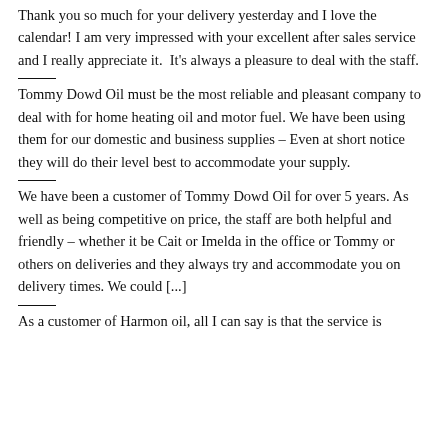Thank you so much for your delivery yesterday and I love the calendar! I am very impressed with your excellent after sales service and I really appreciate it.  It's always a pleasure to deal with the staff.
Tommy Dowd Oil must be the most reliable and pleasant company to deal with for home heating oil and motor fuel. We have been using them for our domestic and business supplies – Even at short notice they will do their level best to accommodate your supply.
We have been a customer of Tommy Dowd Oil for over 5 years. As well as being competitive on price, the staff are both helpful and friendly – whether it be Cait or Imelda in the office or Tommy or others on deliveries and they always try and accommodate you on delivery times. We could [...]
As a customer of Harmon oil, all I can say is that the service is